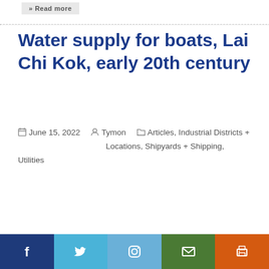Water supply for boats, Lai Chi Kok, early 20th century
June 15, 2022   Tymon   Articles, Industrial Districts + Locations, Shipyards + Shipping, Utilities